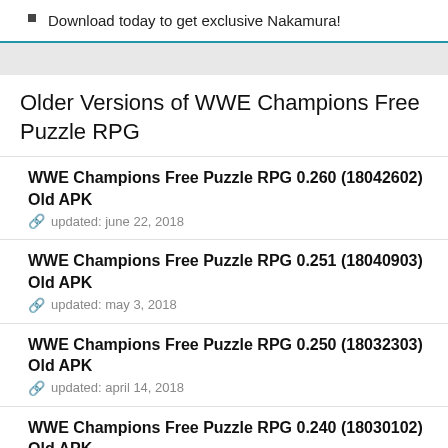Download today to get exclusive Nakamura!
Older Versions of WWE Champions Free Puzzle RPG
WWE Champions Free Puzzle RPG 0.260 (18042602) Old APK
updated: june 22, 2018
WWE Champions Free Puzzle RPG 0.251 (18040903) Old APK
updated: may 3, 2018
WWE Champions Free Puzzle RPG 0.250 (18032303) Old APK
updated: april 14, 2018
WWE Champions Free Puzzle RPG 0.240 (18030102) Old APK